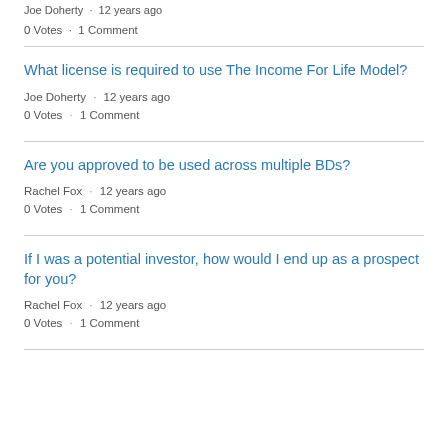Joe Doherty · 12 years ago
0 Votes · 1 Comment
What license is required to use The Income For Life Model?
Joe Doherty · 12 years ago
0 Votes · 1 Comment
Are you approved to be used across multiple BDs?
Rachel Fox · 12 years ago
0 Votes · 1 Comment
If I was a potential investor, how would I end up as a prospect for you?
Rachel Fox · 12 years ago
0 Votes · 1 Comment